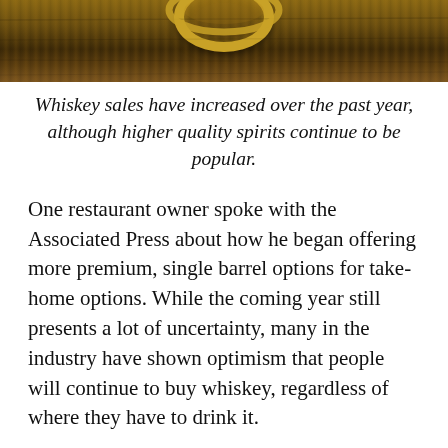[Figure (photo): Close-up photo of a whiskey glass with gold rim on a wooden table surface, cropped at the bottom of frame]
Whiskey sales have increased over the past year, although higher quality spirits continue to be popular.
One restaurant owner spoke with the Associated Press about how he began offering more premium, single barrel options for take-home options. While the coming year still presents a lot of uncertainty, many in the industry have shown optimism that people will continue to buy whiskey, regardless of where they have to drink it.
#COVID-19  #Covid